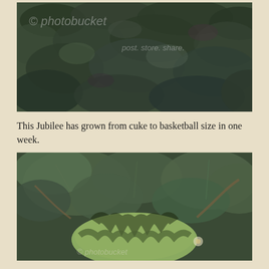[Figure (photo): Aerial view of watermelon plant vines and leaves spread across a garden bed, with a Photobucket watermark overlay.]
This Jubilee has grown from cuke to basketball size in one week.
[Figure (photo): Close-up photograph of a large striped watermelon (Jubilee variety) on the vine surrounded by large green leaves, with a Photobucket watermark overlay.]